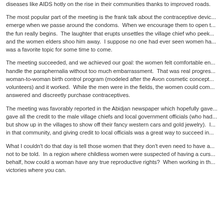diseases like AIDS hotly on the rise in their communities thanks to improved roads.
The most popular part of the meeting is the frank talk about the contraceptive devices that emerge when we passe around the condoms.  When we encourage them to open them up, the fun really begins.  The laughter that erupts unsettles the village chief who peeks in and the women elders shoo him away.  I suppose no one had ever seen women ha... was a favorite topic for some time to come.
The meeting succeeded, and we achieved our goal: the women felt comfortable en... handle the paraphernalia without too much embarrassment.  That was real progress. woman-to-woman birth control program (modeled after the Avon cosmetic concept... volunteers) and it worked.  While the men were in the fields, the women could com... answered and discreetly purchase contraceptives.
The meeting was favorably reported in the Abidjan newspaper which hopefully gav... gave all the credit to the male village chiefs and local government officials (who had... but show up in the villages to show off their fancy western cars and gold jewelry).  I... in that community, and giving credit to local officials was a great way to succeed in...
What I couldn't do that day is tell those women that they don't even need to have a... not to be told.  In a region where childless women were suspected of having a curs... behalf, how could a woman have any true reproductive rights?  When working in th... victories where you can.